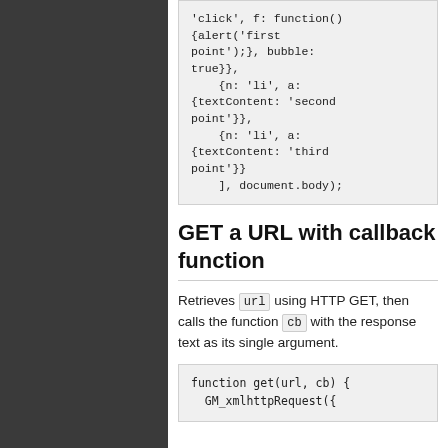[Figure (other): Dark sidebar panel on the left side of the page]
'click', f: function(){alert('first point');}, bubble: true}},
    {n: 'li', a: {textContent: 'second point'}},
    {n: 'li', a: {textContent: 'third point'}}
    ], document.body);
GET a URL with callback function
Retrieves url using HTTP GET, then calls the function cb with the response text as its single argument.
function get(url, cb) {
  GM_xmlhttpRequest({